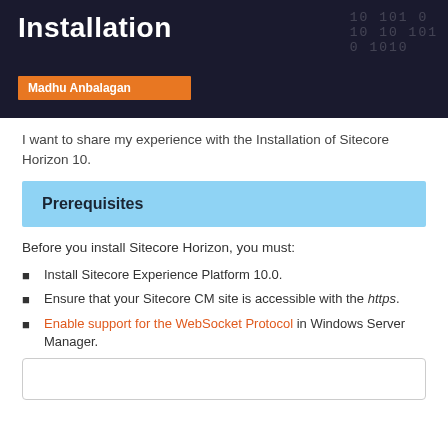[Figure (illustration): Dark header banner with 'Installation' title text in white, binary code pattern in background, and 'Madhu Anbalagan' author name on orange bar]
I want to share my experience with the Installation of Sitecore Horizon 10.
Prerequisites
Before you install Sitecore Horizon, you must:
Install Sitecore Experience Platform 10.0.
Ensure that your Sitecore CM site is accessible with the https.
Enable support for the WebSocket Protocol in Windows Server Manager.